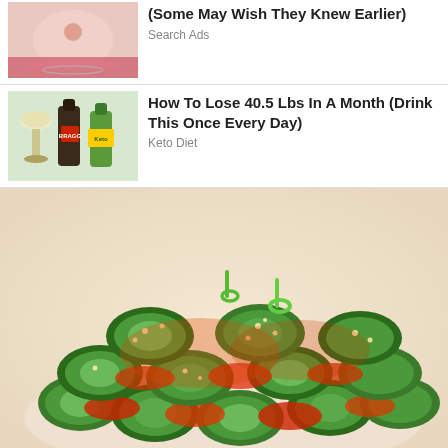[Figure (photo): Thumbnail of a person's belly with a skin condition, wearing pink clothing]
(Some May Wish They Knew Earlier)
Search Ads
[Figure (photo): Thumbnail showing a glass of wine, apple cider vinegar bottle, and a green juice bottle]
How To Lose 40.5 Lbs In A Month (Drink This Once Every Day)
Keto Diet
[Figure (photo): A bowl of spicy cucumber slices topped with sesame seeds and green onions in a red chili sauce]
These 2 Vegetables Will Kill Your Belly And Arm Fat Overnight